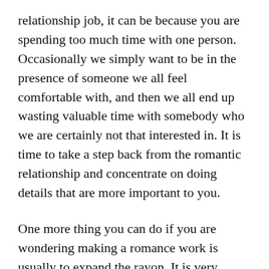relationship job, it can be because you are spending too much time with one person. Occasionally we simply want to be in the presence of someone we all feel comfortable with, and then we all end up wasting valuable time with somebody who we are certainly not that interested in. It is time to take a step back from the romantic relationship and concentrate on doing details that are more important to you.
One more thing you can do if you are wondering making a romance work is usually to expand the rayon. It is very painless to have caught up in day to day existence and to suffer a loss of sight for the big picture. Because a couple gets married they often talk about the future and how they hope the married life will be, but they almost never take the time to think about the life they want to live prior